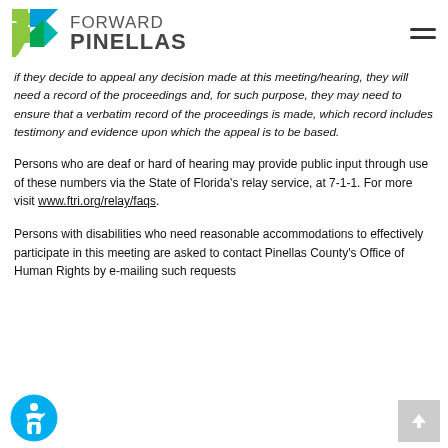Forward Pinellas
if they decide to appeal any decision made at this meeting/hearing, they will need a record of the proceedings and, for such purpose, they may need to ensure that a verbatim record of the proceedings is made, which record includes testimony and evidence upon which the appeal is to be based.
Persons who are deaf or hard of hearing may provide public input through use of these numbers via the State of Florida’s relay service, at 7-1-1. For more visit www.ftri.org/relay/faqs.
Persons with disabilities who need reasonable accommodations to effectively participate in this meeting are asked to contact Pinellas County’s Office of Human Rights by e-mailing such requests